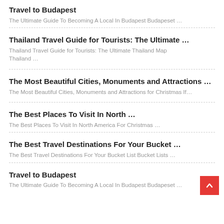Travel to Budapest
The Ultimate Guide To Becoming A Local In Budapest Budapeset …
Thailand Travel Guide for Tourists: The Ultimate …
Thailand Travel Guide for Tourists: The Ultimate Thailand Map Thailand …
The Most Beautiful Cities, Monuments and Attractions …
The Most Beautiful Cities, Monuments and Attractions for Christmas If…
The Best Places To Visit In North …
The Best Places To Visit In North America For Christmas …
The Best Travel Destinations For Your Bucket …
The Best Travel Destinations For Your Bucket List Bucket Lists …
Travel to Budapest
The Ultimate Guide To Becoming A Local In Budapest Budapeset …